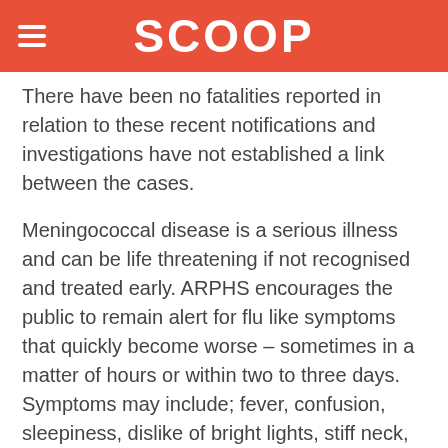SCOOP
There have been no fatalities reported in relation to these recent notifications and investigations have not established a link between the cases.
Meningococcal disease is a serious illness and can be life threatening if not recognised and treated early. ARPHS encourages the public to remain alert for flu like symptoms that quickly become worse – sometimes in a matter of hours or within two to three days. Symptoms may include; fever, confusion, sleepiness, dislike of bright lights, stiff neck, joint pain and the appearance of a rash. Children and babies may also refuse feeds, can be floppy and experience vomiting.